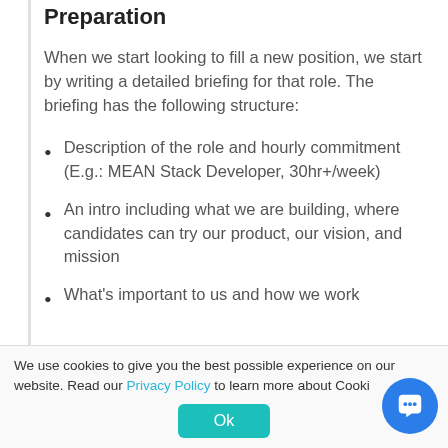Preparation
When we start looking to fill a new position, we start by writing a detailed briefing for that role. The briefing has the following structure:
Description of the role and hourly commitment (E.g.: MEAN Stack Developer, 30hr+/week)
An intro including what we are building, where candidates can try our product, our vision, and mission
What's important to us and how we work
We use cookies to give you the best possible experience on our website. Read our Privacy Policy to learn more about Cooki...